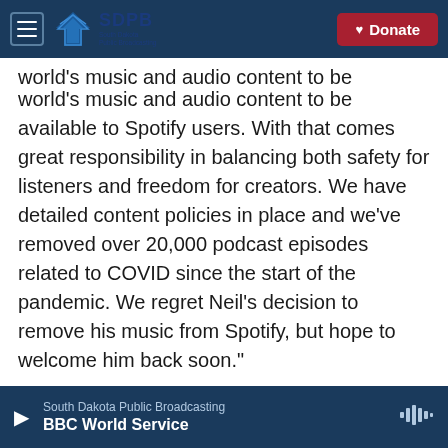SDPB South Dakota Public Broadcasting | Donate
world's music and audio content to be available to Spotify users. With that comes great responsibility in balancing both safety for listeners and freedom for creators. We have detailed content policies in place and we've removed over 20,000 podcast episodes related to COVID since the start of the pandemic. We regret Neil's decision to remove his music from Spotify, but hope to welcome him back soon."
Earlier this month, Young sold 50% of his songwriting copyrights to the U.K. investment company Hipgnosis Songs, which was founded by
South Dakota Public Broadcasting
BBC World Service